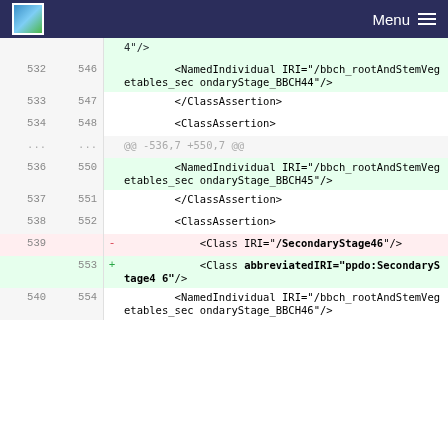Menu
| old | new |  | code |
| --- | --- | --- | --- |
|  |  |  | 4"/> |
| 532 | 546 |  | <NamedIndividual IRI="/bbch_rootAndStemVegetables_secondaryStage_BBCH44"/> |
| 533 | 547 |  | </ClassAssertion> |
| 534 | 548 |  | <ClassAssertion> |
| ... | ... |  | @@ -536,7 +550,7 @@ |
| 536 | 550 |  | <NamedIndividual IRI="/bbch_rootAndStemVegetables_secondaryStage_BBCH45"/> |
| 537 | 551 |  | </ClassAssertion> |
| 538 | 552 |  | <ClassAssertion> |
| 539 |  | - | <Class IRI="/SecondaryStage46"/> |
|  | 553 | + | <Class abbreviatedIRI="ppdo:SecondaryStage46"/> |
| 540 | 554 |  | <NamedIndividual IRI="/bbch_rootAndStemVegetables_secondaryStage_BBCH46"/> |